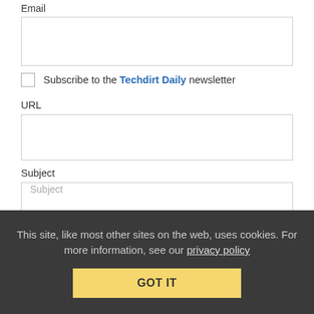Email
Subscribe to the Techdirt Daily newsletter
URL
Subject
Comment *
This site, like most other sites on the web, uses cookies. For more information, see our privacy policy
GOT IT